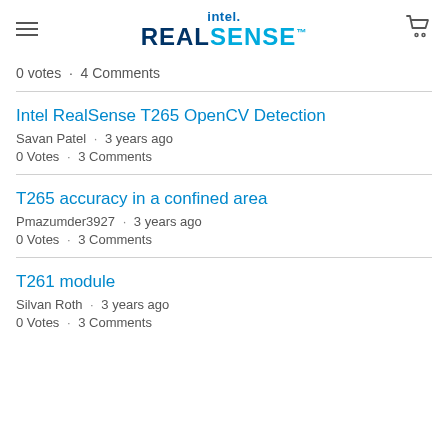intel. REALSENSE
0 votes · 4 Comments
Intel RealSense T265 OpenCV Detection
Savan Patel · 3 years ago
0 Votes · 3 Comments
T265 accuracy in a confined area
Pmazumder3927 · 3 years ago
0 Votes · 3 Comments
T261 module
Silvan Roth · 3 years ago
0 Votes · 3 Comments